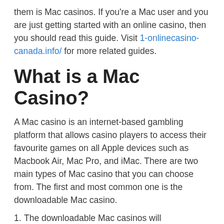them is Mac casinos. If you're a Mac user and you are just getting started with an online casino, then you should read this guide. Visit 1-onlinecasino-canada.info/ for more related guides.
What is a Mac Casino?
A Mac casino is an internet-based gambling platform that allows casino players to access their favourite games on all Apple devices such as Macbook Air, Mac Pro, and iMac. There are two main types of Mac casino that you can choose from. The first and most common one is the downloadable Mac casino.
1. The downloadable Mac casinos will